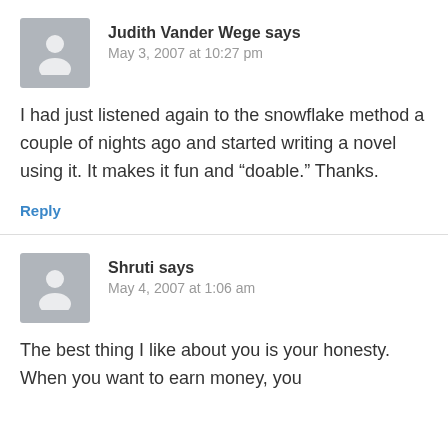Judith Vander Wege says
May 3, 2007 at 10:27 pm
I had just listened again to the snowflake method a couple of nights ago and started writing a novel using it. It makes it fun and “doable.” Thanks.
Reply
Shruti says
May 4, 2007 at 1:06 am
The best thing I like about you is your honesty. When you want to earn money, you